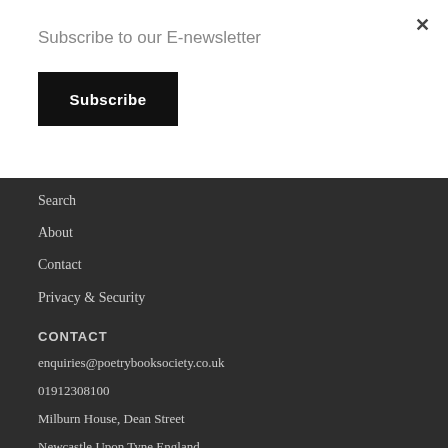Subscribe to our E-newsletter
Subscribe
×
Search
About
Contact
Privacy & Security
CONTACT
enquiries@poetrybooksociety.co.uk
01912308100
Milburn House, Dean Street
Newcastle Upon Tyne England